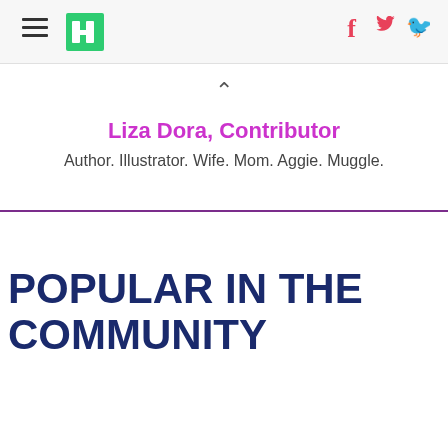HuffPost navigation header with hamburger menu, logo, Facebook and Twitter icons
Liza Dora, Contributor
Author. Illustrator. Wife. Mom. Aggie. Muggle.
POPULAR IN THE COMMUNITY